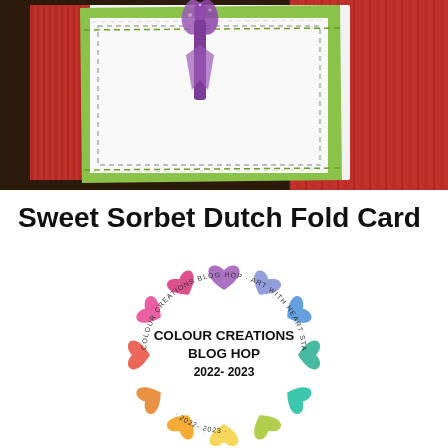[Figure (photo): Close-up photo of a handmade Dutch fold card with green lime cardstock, white stitched panel, red striped background, and a purple glitter ribbon/bow on top, placed on a dark wooden surface.]
Sweet Sorbet Dutch Fold Card
[Figure (logo): Colour Creations Blog Hop 2022-2023 circular logo with watercolour rainbow hearts arranged in a circle and text reading 'COLOUR CREATIONS BLOG HOP · ART WITH HEART STAMPIN' UP! TEAM AUSTRALIA · 2022-2023' around the edge.]